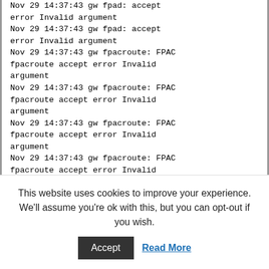Nov 29 14:37:43 gw fpad: accept error Invalid argument
Nov 29 14:37:43 gw fpad: accept error Invalid argument
Nov 29 14:37:43 gw fpacroute: FPAC fpacroute accept error Invalid argument
Nov 29 14:37:43 gw fpacroute: FPAC fpacroute accept error Invalid argument
Nov 29 14:37:43 gw fpacroute: FPAC fpacroute accept error Invalid argument
Nov 29 14:37:43 gw fpacroute: FPAC fpacroute accept error Invalid argument
Nov 29 14:37:43 gw fpacroute: FPAC
This website uses cookies to improve your experience. We'll assume you're ok with this, but you can opt-out if you wish.
Accept   Read More